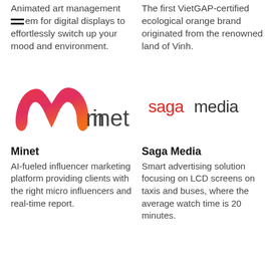Animated art management system for digital displays to effortlessly switch up your mood and environment.
The first VietGAP-certified ecological orange brand originated from the renowned land of Vinh.
[Figure (logo): Minet logo: stylized M in red-to-orange gradient with the word 'minet' in dark gray]
[Figure (logo): Saga Media logo: 'saga' in red and 'media' in dark gray, rounded modern font]
Minet
AI-fueled influencer marketing platform providing clients with the right micro influencers and real-time report.
Saga Media
Smart advertising solution focusing on LCD screens on taxis and buses, where the average watch time is 20 minutes.